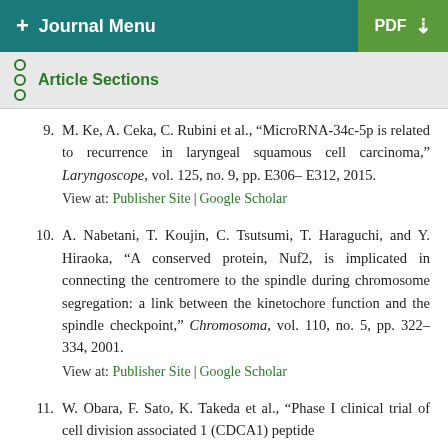+ Journal Menu | PDF
Article Sections
9. M. Ke, A. Ceka, C. Rubini et al., "MicroRNA-34c-5p is related to recurrence in laryngeal squamous cell carcinoma," Laryngoscope, vol. 125, no. 9, pp. E306–E312, 2015. View at: Publisher Site | Google Scholar
10. A. Nabetani, T. Koujin, C. Tsutsumi, T. Haraguchi, and Y. Hiraoka, "A conserved protein, Nuf2, is implicated in connecting the centromere to the spindle during chromosome segregation: a link between the kinetochore function and the spindle checkpoint," Chromosoma, vol. 110, no. 5, pp. 322–334, 2001. View at: Publisher Site | Google Scholar
11. W. Obara, F. Sato, K. Takeda et al., "Phase I clinical trial of cell division associated 1 (CDCA1) peptide